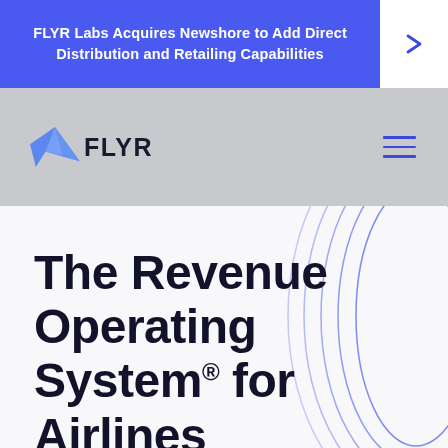FLYR Labs Acquires Newshore to Add Direct Distribution and Retailing Capabilities
[Figure (logo): FLYR logo with blue plane/fin icon and FLYR wordmark in dark text on gray navigation bar]
The Revenue Operating System® for Airlines